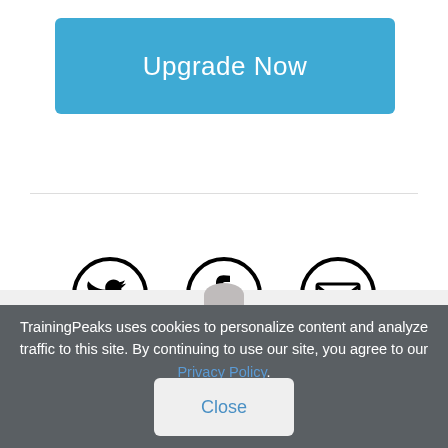Upgrade Now
[Figure (illustration): Three circular social media icons: Twitter bird icon, Facebook F icon, and an envelope/email icon, all outlined in black on white background]
[Figure (illustration): Partial view of a circular avatar/profile image at the bottom edge of the white section]
TrainingPeaks uses cookies to personalize content and analyze traffic to this site. By continuing to use our site, you agree to our Privacy Policy.
Close